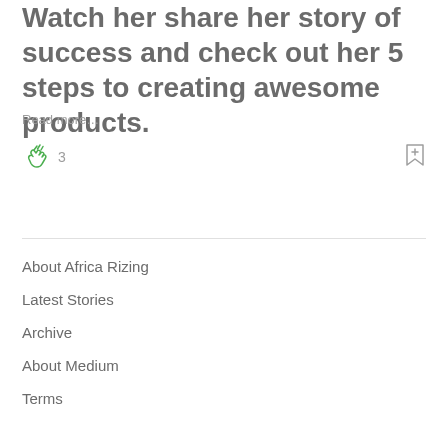Watch her share her story of success and check out her 5 steps to creating awesome products.
Read more…
[Figure (illustration): Clapping hands green icon with count 3 and bookmark icon]
About Africa Rizing
Latest Stories
Archive
About Medium
Terms